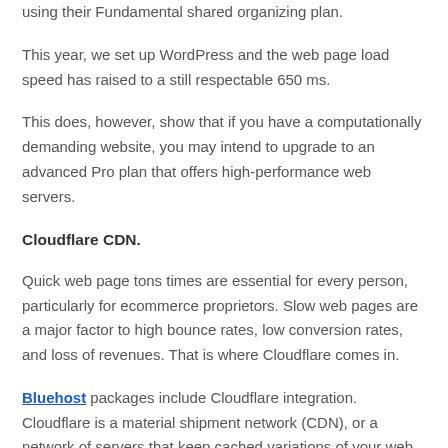using their Fundamental shared organizing plan.
This year, we set up WordPress and the web page load speed has raised to a still respectable 650 ms.
This does, however, show that if you have a computationally demanding website, you may intend to upgrade to an advanced Pro plan that offers high-performance web servers.
Cloudflare CDN.
Quick web page tons times are essential for every person, particularly for ecommerce proprietors. Slow web pages are a major factor to high bounce rates, low conversion rates, and loss of revenues. That is where Cloudflare comes in.
Bluehost packages include Cloudflare integration. Cloudflare is a material shipment network (CDN), or a network of servers that keep cached variations of your web site.